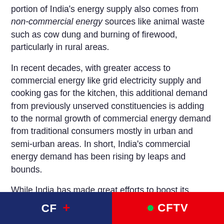portion of India's energy supply also comes from non-commercial energy sources like animal waste such as cow dung and burning of firewood, particularly in rural areas.
In recent decades, with greater access to commercial energy like grid electricity supply and cooking gas for the kitchen, this additional demand from previously unserved constituencies is adding to the normal growth of commercial energy demand from traditional consumers mostly in urban and semi-urban areas. In short, India's commercial energy demand has been rising by leaps and bounds.
While India has made great efforts to boost its
CF + | CFTV